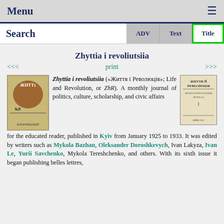Menu ☰
Search | ADV | Text | Title
Zhyttia i revoliutsiia
<<< print >>>
Zhyttia i revoliutsiia («Життя і Революція»; Life and Revolution, or ZhR). A monthly journal of politics, culture, scholarship, and civic affairs for the educated reader, published in Kyiv from January 1925 to 1933. It was edited by writers such as Mykola Bazhan, Oleksander Doroshkevych, Ivan Lakyza, Ivan Le, Yurii Savchenko, Mykola Tereshchenko, and others. With its sixth issue it began publishing belles lettres,